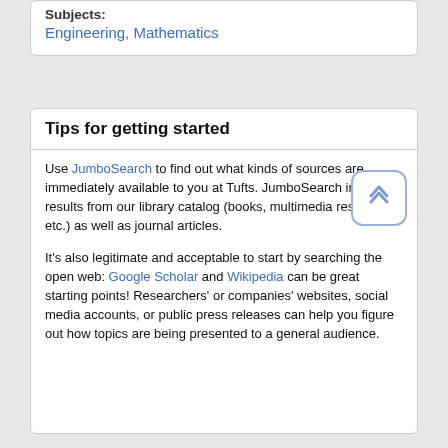Subjects: Engineering, Mathematics
Tips for getting started
Use JumboSearch to find out what kinds of sources are immediately available to you at Tufts. JumboSearch includes results from our library catalog (books, multimedia resources, etc.) as well as journal articles.
It's also legitimate and acceptable to start by searching the open web: Google Scholar and Wikipedia can be great starting points! Researchers' or companies' websites, social media accounts, or public press releases can help you figure out how topics are being presented to a general audience.